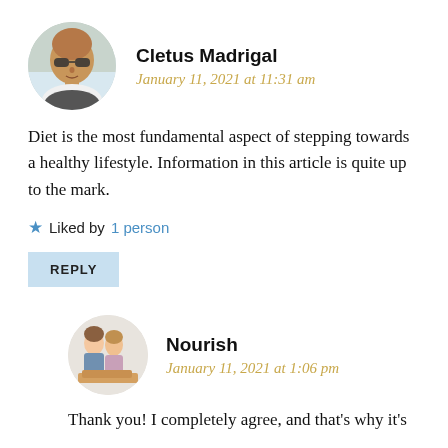[Figure (photo): Circular avatar photo of Cletus Madrigal, a bald man wearing sunglasses]
Cletus Madrigal
January 11, 2021 at 11:31 am
Diet is the most fundamental aspect of stepping towards a healthy lifestyle. Information in this article is quite up to the mark.
★ Liked by 1 person
REPLY
[Figure (photo): Circular avatar photo of Nourish, showing two women]
Nourish
January 11, 2021 at 1:06 pm
Thank you! I completely agree, and that's why it's